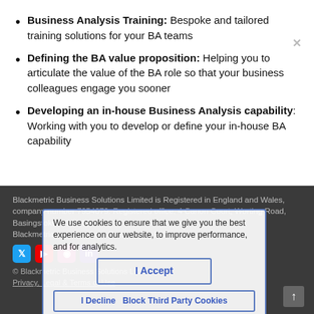Business Analysis Training: Bespoke and tailored training solutions for your BA teams
Defining the BA value proposition: Helping you to articulate the value of the BA role so that your business colleagues engage you sooner
Developing an in-house Business Analysis capability: Working with you to develop or define your in-house BA capability
Blackmetric Business Solutions Limited is Registered in England and Wales, company number 7954079. Registered office: 4 Canon Court, Worting Road, Basingstoke RG21 8EA. Blackmetric operates from Portsmouth, UK. © Blackmetric Business Solutions Ltd Privacy, Legal & Terms of Use
We use cookies to ensure that we give you the best experience on our website, to improve performance, and for analytics. I Accept I Decline Block Third Party Cookies